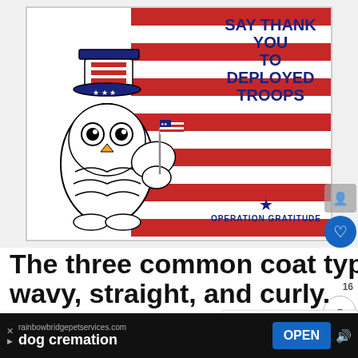[Figure (illustration): Operation Gratitude promotional image with 'Say Thank You To Deployed Troops' text, cartoon owl wearing Uncle Sam hat holding a small American flag, with American flag background (red/white stripes and blue star canton), and Operation Gratitude logo at bottom right.]
The three common coat types are wavy, straight, and curly.
Wavy coats: the most commonly desired coat for a Godlendoodle (or English Goldendoodle)
WHAT'S NEXT → How To Tell What Coat...
rainbowbridgepetservices.com
dog cremation
OPEN